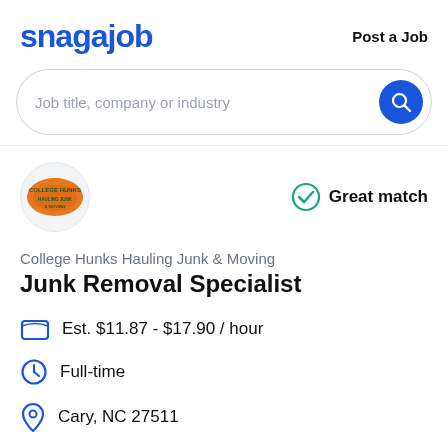snagajob   Post a Job
Job title, company or industry
[Figure (logo): College Hunks Hauling Junk & Moving company logo — orange oval shape with green text]
Great match
College Hunks Hauling Junk & Moving
Junk Removal Specialist
Est. $11.87 - $17.90 / hour
Full-time
Cary, NC 27511